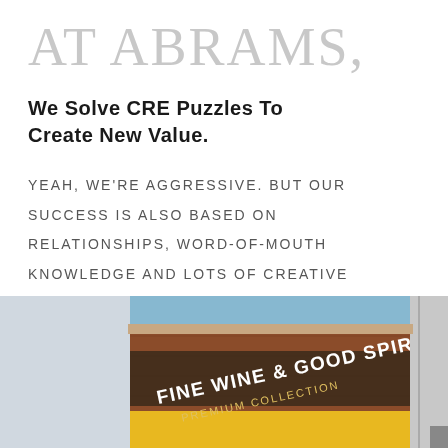AT ABRAMS,
We Solve CRE Puzzles To Create New Value.
YEAH, WE'RE AGGRESSIVE. BUT OUR SUCCESS IS ALSO BASED ON RELATIONSHIPS, WORD-OF-MOUTH KNOWLEDGE AND LOTS OF CREATIVE THINKING. WE'LL HELP YOU MAKE ALL THE PIECES FIT.
[Figure (photo): Exterior photo of a retail building with a sign reading 'FINE WINE & GOOD SPIRITS' and 'PREMIUM COLLECTION']